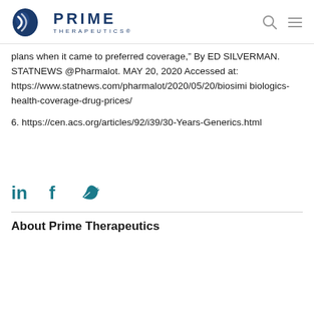Prime Therapeutics
plans when it came to preferred coverage," By ED SILVERMAN. STATNEWS @Pharmalot. MAY 20, 2020 Accessed at: https://www.statnews.com/pharmalot/2020/05/20/biosimi biologics-health-coverage-drug-prices/
6. https://cen.acs.org/articles/92/i39/30-Years-Generics.html
About Prime Therapeutics